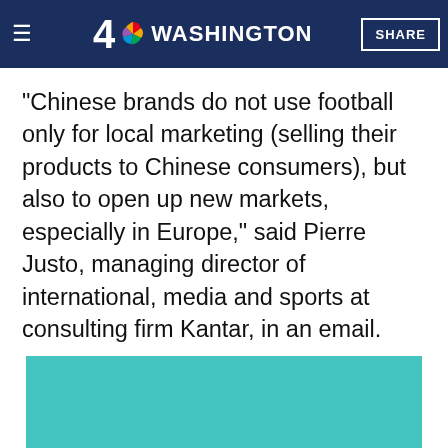NBC 4 Washington — SHARE
"Chinese brands do not use football only for local marketing (selling their products to Chinese consumers), but also to open up new markets, especially in Europe," said Pierre Justo, managing director of international, media and sports at consulting firm Kantar, in an email.
[Figure (photo): Teal/turquoise colored image block, partially visible at bottom of page]